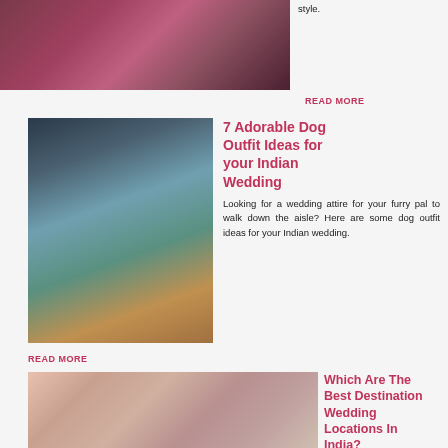[Figure (photo): Indian wedding photo showing bride in traditional red and pink attire with floral decoration, partially cropped at top]
style.
READ MORE
[Figure (photo): Woman in teal green lehenga sitting in a wicker chair holding a small Pomeranian dog dressed in blue outfit, wearing sunglasses and floral headband]
7 Adorable Dog Outfit Ideas for your Indian Wedding
Looking for a wedding attire for your furry pal to walk down the aisle? Here are some dog outfit ideas for your Indian wedding.
READ MORE
[Figure (photo): Indian wedding couple at outdoor ceremony, groom in blue sherwani and pink turban, bride in pink lehenga with heavy jewelry, crowd in background under decorative arch]
Which Are The Best Destination Wedding Locations In India?
Top 9 Indian wedding destinations in India